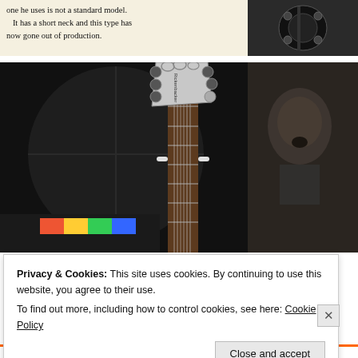one he uses is not a standard model. It has a short neck and this type has now gone out of production.
[Figure (photo): Close-up photograph of a guitar headstock (Rickenbacker) on display in a dark museum setting, with a sepia-toned photograph of a performer visible in the background.]
Privacy & Cookies: This site uses cookies. By continuing to use this website, you agree to their use.
To find out more, including how to control cookies, see here: Cookie Policy
Close and accept